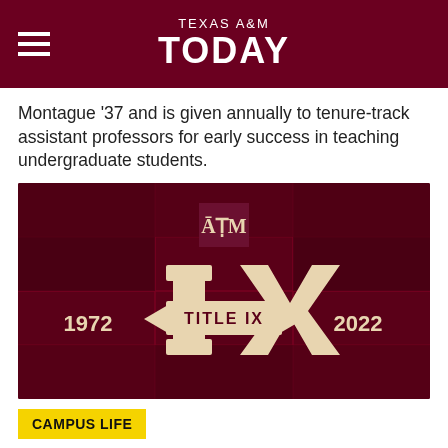TEXAS A&M TODAY
Montague '37 and is given annually to tenure-track assistant professors for early success in teaching undergraduate students.
[Figure (illustration): Texas A&M Title IX 50th anniversary graphic (1972-2022) with the Texas A&M logo and 'TITLE IX' banner on a dark maroon background with collaged photos.]
CAMPUS LIFE